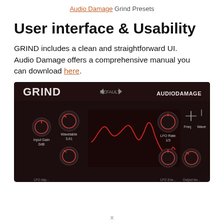Audio Damage Grind Presets
User interface & Usability
GRIND includes a clean and straightforward UI. Audio Damage offers a comprehensive manual you can download here.
[Figure (screenshot): Screenshot of the GRIND audio plugin UI by Audio Damage, showing dark brown interface with knobs labeled Input Gain (0dB), Wavetable (3.61), LFO Rate (1/3), Freq, Wave, and a red waveform display in the center. Header shows GRIND on the left, DEFAULT preset in the middle with navigation arrows, and AUDIODAMAGE on the right.]